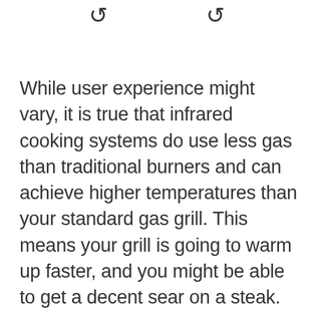While user experience might vary, it is true that infrared cooking systems do use less gas than traditional burners and can achieve higher temperatures than your standard gas grill. This means your grill is going to warm up faster, and you might be able to get a decent sear on a steak.